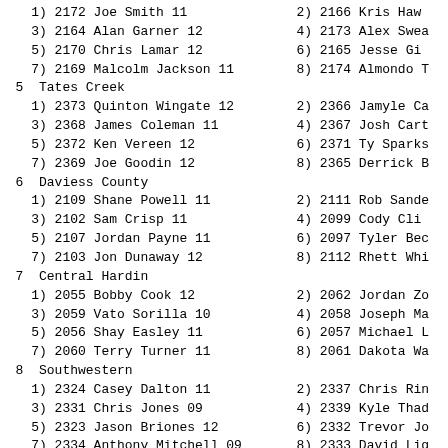1) 2172 Joe Smith 11              2) 2166 Kris Haw
3) 2164 Alan Garner 12            4) 2173 Alex Swea
5) 2170 Chris Lamar 12            6) 2165 Jesse Gi
7) 2169 Malcolm Jackson 11        8) 2174 Almondo T
5  Tates Creek
1) 2373 Quinton Wingate 12        2) 2366 Jamyle Ca
3) 2368 James Coleman 11          4) 2367 Josh Cart
5) 2372 Ken Vereen 12             6) 2371 Ty Sparks
7) 2369 Joe Goodin 12             8) 2365 Derrick B
6  Daviess County
1) 2109 Shane Powell 11           2) 2111 Rob Sande
3) 2102 Sam Crisp 11              4) 2099 Cody Cli
5) 2107 Jordan Payne 11           6) 2097 Tyler Bec
7) 2103 Jon Dunaway 12            8) 2112 Rhett Whi
7  Central Hardin
1) 2055 Bobby Cook 12             2) 2062 Jordan Zo
3) 2059 Vato Sorilla 10           4) 2058 Joseph Ma
5) 2056 Shay Easley 11            6) 2057 Michael L
7) 2060 Terry Turner 11           8) 2061 Dakota Wa
8  Southwestern
1) 2324 Casey Dalton 11           2) 2337 Chris Rin
3) 2331 Chris Jones 09            4) 2339 Kyle Thad
5) 2323 Jason Briones 12          6) 2332 Trevor Jo
7) 2334 Anthony Mitchell 09       8) 2333 David Lig
Heat 2  Prelims
1  Conner
1) 2072 Justin Shipp 10           2) 2068 Jon Feist
3) 2074 Michael Tullius 10        4) 2071 Matthew F
5) 2070 Jonathan Kippler 08       6) 2069 Frank Gu
7) 2073 Justin Trenkamp 11        8) 2075 Jeff Wals